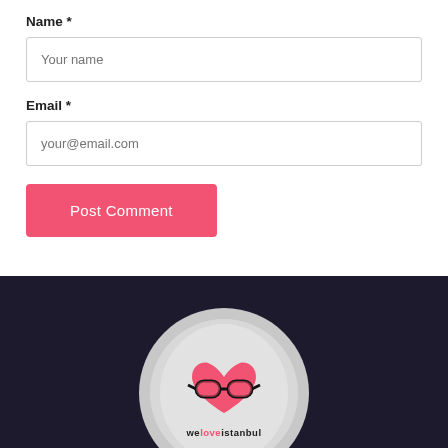Name *
Your name
Email *
your@email.com
Post Comment
[Figure (logo): We Love Istanbul logo - circular badge with heart wearing glasses and text 'weloveistanbul']